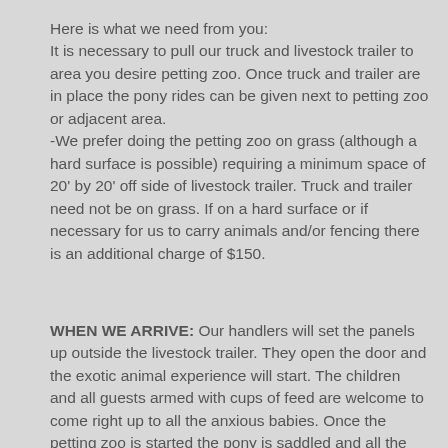Here is what we need from you:
It is necessary to pull our truck and livestock trailer to area you desire petting zoo. Once truck and trailer are in place the pony rides can be given next to petting zoo or adjacent area.
-We prefer doing the petting zoo on grass (although a hard surface is possible) requiring a minimum space of 20' by 20' off side of livestock trailer. Truck and trailer need not be on grass. If on a hard surface or if necessary for us to carry animals and/or fencing there is an additional charge of $150.
WHEN WE ARRIVE: Our handlers will set the panels up outside the livestock trailer. They open the door and the exotic animal experience will start. The children and all guests armed with cups of feed are welcome to come right up to all the anxious babies. Once the petting zoo is started the pony is saddled and all the kids are invited for a pony ride.